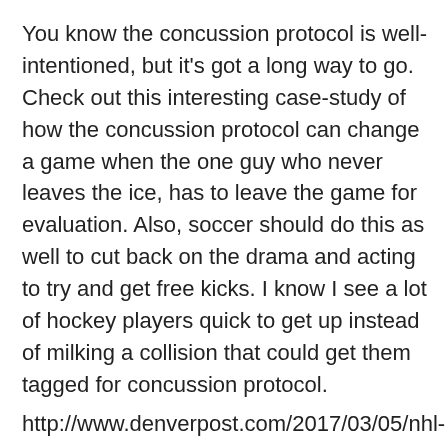You know the concussion protocol is well-intentioned, but it's got a long way to go. Check out this interesting case-study of how the concussion protocol can change a game when the one guy who never leaves the ice, has to leave the game for evaluation. Also, soccer should do this as well to cut back on the drama and acting to try and get free kicks. I know I see a lot of hockey players quick to get up instead of milking a collision that could get them tagged for concussion protocol.
http://www.denverpost.com/2017/03/05/nhl-